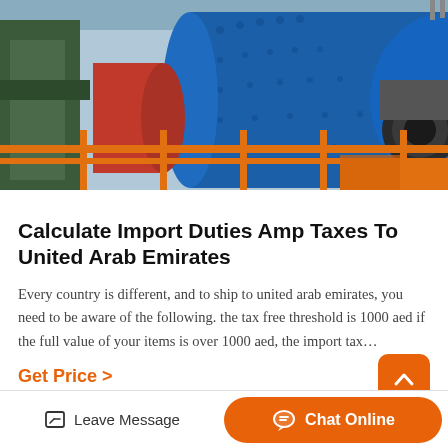[Figure (photo): Industrial machinery with large blue cylindrical ball mill, red rotating drum/pulley, orange safety railings, and green metal structures in a factory setting.]
Calculate Import Duties Amp Taxes To United Arab Emirates
Every country is different, and to ship to united arab emirates, you need to be aware of the following. the tax free threshold is 1000 aed if the full value of your items is over 1000 aed, the import tax…
Get Price >
Leave Message   Chat Online